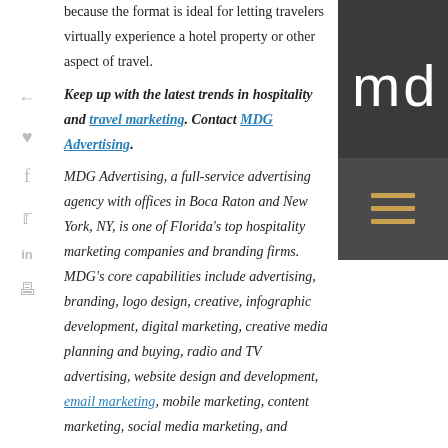because the format is ideal for letting travelers virtually experience a hotel property or other aspect of travel.
Keep up with the latest trends in hospitality and travel marketing. Contact MDG Advertising.
MDG Advertising, a full-service advertising agency with offices in Boca Raton and New York, NY, is one of Florida’s top hospitality marketing companies and branding firms. MDG’s core capabilities include advertising, branding, logo design, creative, infographic development, digital marketing, creative media planning and buying, radio and TV advertising, website design and development, email marketing, mobile marketing, content marketing, social media marketing, and
[Figure (logo): MDG logo - dark grey box with white letters 'mdg' in a modern condensed font]
[Figure (infographic): Dark grey box with three horizontal orange/gold lines (hamburger menu icon)]